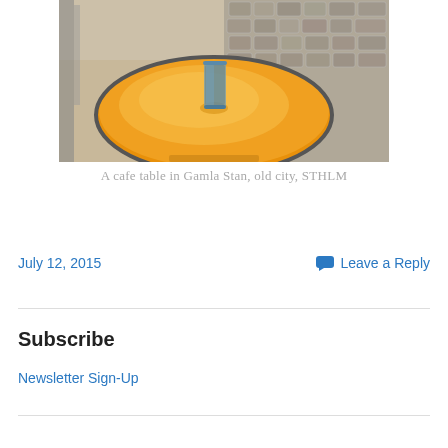[Figure (photo): A round wooden cafe table with a glass on it, viewed from above. Cobblestone pavement visible in background. Warm amber/orange lighting on the table surface. A dark metal lamp or chair is partially visible on the left.]
A cafe table in Gamla Stan, old city, STHLM
July 12, 2015
Leave a Reply
Subscribe
Newsletter Sign-Up